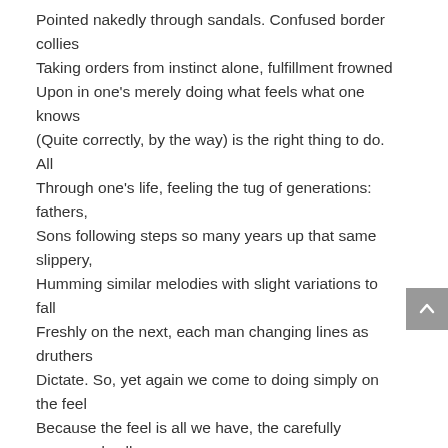Pointed nakedly through sandals. Confused border collies
Taking orders from instinct alone, fulfillment frowned
Upon in one's merely doing what feels what one knows
(Quite correctly, by the way) is the right thing to do. All
Through one's life, feeling the tug of generations: fathers,
Sons following steps so many years up that same slippery,
Humming similar melodies with slight variations to fall
Freshly on the next, each man changing lines as druthers
Dictate. So, yet again we come to doing simply on the feel
Because the feel is all we have, the carefully measured calls
Toward a cavern somewhere deep inside where fires stoked
In an evening's revelry prepare us for the morning's ordeal
Of leaving deserved passions simmering. A motorcar stalls
Again on the highway. Wet, rhythmic white noise chokes
Up the memory of our sleeping warmth, two legs coming
Together into hips so wide the cradle of life fits as nicely
As tasteful new appointments in an empty room, furnished
For a spread in a glossy magazine, opening to the foaming
Center, stitched with steel, folding out again for a thricely
Paneled ceiling. This is as high as you go, the burnished
Clay bust says, speaking to the few, the hapless, the grave
Implications of his word slide unchecked, unsung, unheard
Amidst the masses who might as well have been watching
Reruns, as they probably were, devotedly, religiously, save